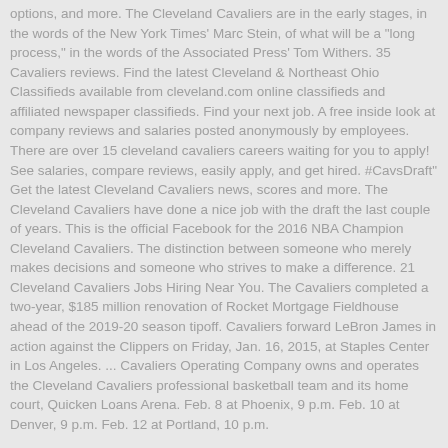options, and more. The Cleveland Cavaliers are in the early stages, in the words of the New York Times' Marc Stein, of what will be a "long process," in the words of the Associated Press' Tom Withers. 35 Cavaliers reviews. Find the latest Cleveland & Northeast Ohio Classifieds available from cleveland.com online classifieds and affiliated newspaper classifieds. Find your next job. A free inside look at company reviews and salaries posted anonymously by employees. There are over 15 cleveland cavaliers careers waiting for you to apply! See salaries, compare reviews, easily apply, and get hired. #CavsDraft" Get the latest Cleveland Cavaliers news, scores and more. The Cleveland Cavaliers have done a nice job with the draft the last couple of years. This is the official Facebook for the 2016 NBA Champion Cleveland Cavaliers. The distinction between someone who merely makes decisions and someone who strives to make a difference. 21 Cleveland Cavaliers Jobs Hiring Near You. The Cavaliers completed a two-year, $185 million renovation of Rocket Mortgage Fieldhouse ahead of the 2019-20 season tipoff. Cavaliers forward LeBron James in action against the Clippers on Friday, Jan. 16, 2015, at Staples Center in Los Angeles. ... Cavaliers Operating Company owns and operates the Cleveland Cavaliers professional basketball team and its home court, Quicken Loans Arena. Feb. 8 at Phoenix, 9 p.m. Feb. 10 at Denver, 9 p.m. Feb. 12 at Portland, 10 p.m.